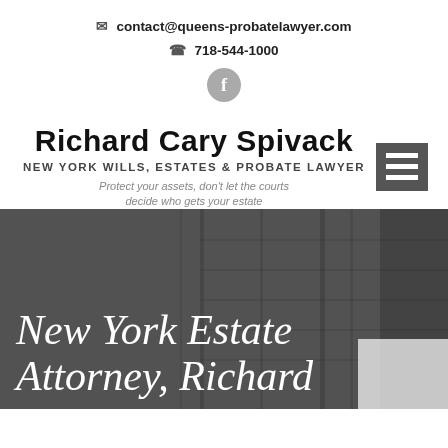contact@queens-probatelawyer.com
718-544-1000
[Figure (logo): Facebook icon circle with 'f' letter in gray]
Richard Cary Spivack
NEW YORK WILLS, ESTATES & PROBATE LAWYER
Protect your assets, don't let the courts decide who gets your estate
[Figure (photo): Dark hero background image of building/architecture, gray toned, with overlay text 'New York Estate Attorney, Richard']